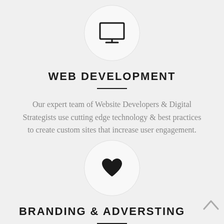[Figure (illustration): Monitor/desktop computer icon inside a circular light gray background at top center]
WEB DEVELOPMENT
Our expert team of Website Developers & Digital Strategists use cutting edge technology & best practices to create custom sites that increase user engagement.
[Figure (illustration): Heart icon inside a circular light gray background at center]
BRANDING & ADVERSTING